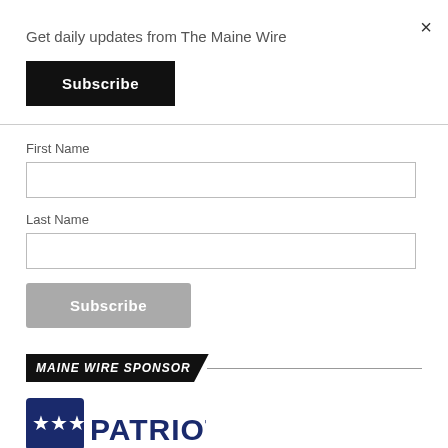×
Get daily updates from The Maine Wire
Subscribe
First Name
Last Name
Subscribe
MAINE WIRE SPONSOR
[Figure (logo): Patriot logo with stars shield and text PATRIOT]